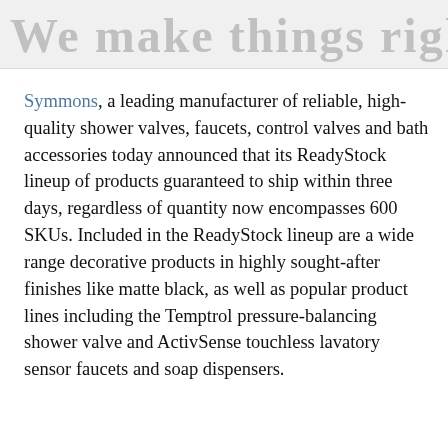We make things right.
Symmons, a leading manufacturer of reliable, high-quality shower valves, faucets, control valves and bath accessories today announced that its ReadyStock lineup of products guaranteed to ship within three days, regardless of quantity now encompasses 600 SKUs. Included in the ReadyStock lineup are a wide range decorative products in highly sought-after finishes like matte black, as well as popular product lines including the Temptrol pressure-balancing shower valve and ActivSense touchless lavatory sensor faucets and soap dispensers.